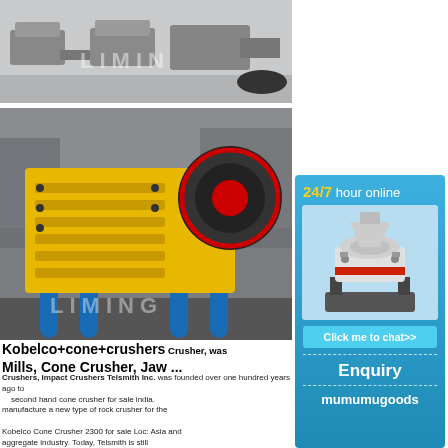[Figure (photo): Top banner showing industrial mining/crushing equipment machines lined up on a gray surface, with LIMING watermark]
[Figure (photo): Large yellow jaw crusher machine with blue support legs in industrial factory setting, with LIMING watermark]
Kobelco+cone+crushers Crusher, was Mills, Cone Crusher, Jaw ...
Crushers, Impact Crushers Telsmith Inc. was founded over one hundred years ago to manufacture a new type of rock crusher for the aggregate industry. Today, Telsmith is still connected with its
second hand cone crusher for sale india. Kobelco Cone Crusher 2300 for sale Loc: Asia and Pacific – India. Buy and Sell used Pegson 3 auto
[Figure (infographic): Blue sidebar advertisement with '24/7 hour online' text in yellow and white, cone crusher machine image, 'Click me to chat>>' button, 'Enquiry' text, and 'mumumugoods' text]
Click me to chat>>
Enquiry
mumumugoods